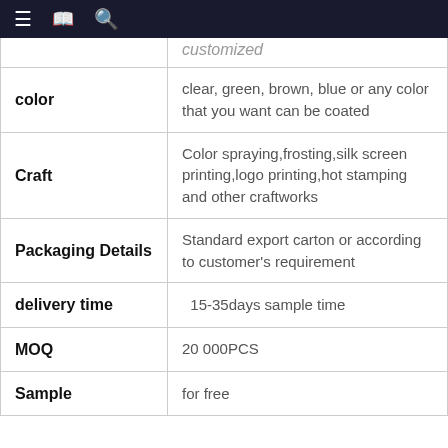≡ [book icon] Q
| Property | Value |
| --- | --- |
|  | customized |
| color | clear, green, brown, blue or any color that you want can be coated |
| Craft | Color spraying,frosting,silk screen printing,logo printing,hot stamping and other craftworks |
| Packaging Details | Standard export carton or according to customer's requirement |
| delivery time | 15-35days sample time |
| MOQ | 20 000PCS |
| Sample | for free |